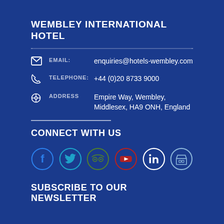WEMBLEY INTERNATIONAL HOTEL
EMAIL: enquiries@hotels-wembley.com
TELEPHONE: +44 (0)20 8733 9000
ADDRESS: Empire Way, Wembley, Middlesex, HA9 ONH, England
CONNECT WITH US
[Figure (illustration): Six social media icons in circles: Facebook (blue), Twitter (cyan), TripAdvisor (green), YouTube (red), LinkedIn (white outline), and a shop/store icon (light blue outline)]
SUBSCRIBE TO OUR NEWSLETTER